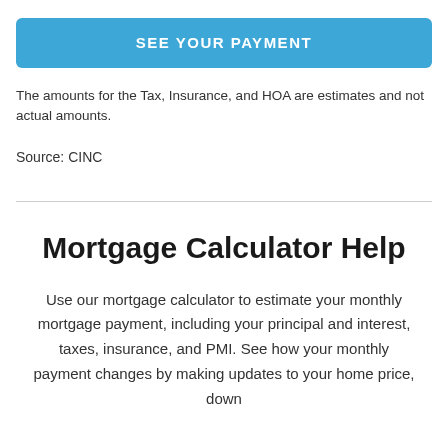[Figure (other): Blue rounded button with text SEE YOUR PAYMENT]
The amounts for the Tax, Insurance, and HOA are estimates and not actual amounts.
Source: CINC
Mortgage Calculator Help
Use our mortgage calculator to estimate your monthly mortgage payment, including your principal and interest, taxes, insurance, and PMI. See how your monthly payment changes by making updates to your home price, down